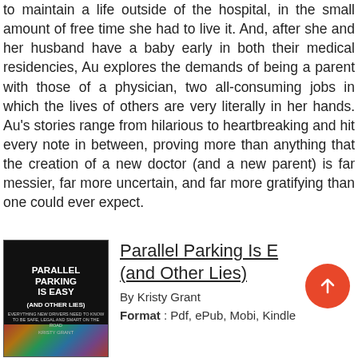to maintain a life outside of the hospital, in the small amount of free time she had to live it. And, after she and her husband have a baby early in both their medical residencies, Au explores the demands of being a parent with those of a physician, two all-consuming jobs in which the lives of others are very literally in her hands. Au's stories range from hilarious to heartbreaking and hit every note in between, proving more than anything that the creation of a new doctor (and a new parent) is far messier, far more uncertain, and far more gratifying than one could ever expect.
[Figure (illustration): Book cover of 'Parallel Parking Is Easy (and Other Lies)' by Kristy Grant, dark background with colorful illustrated elements at the bottom]
Parallel Parking Is Easy (and Other Lies)
By Kristy Grant
Format : Pdf, ePub, Mobi, Kindle